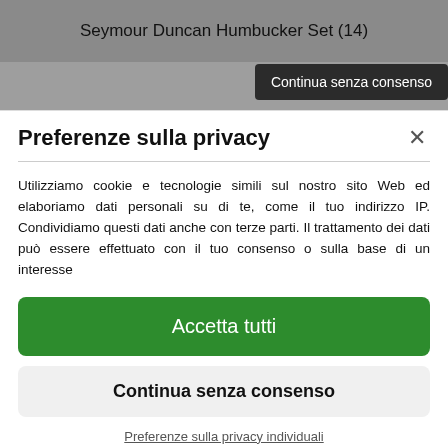Seymour Duncan Humbucker Set (14)
Continua senza consenso
Preferenze sulla privacy
Utilizziamo cookie e tecnologie simili sul nostro sito Web ed elaboriamo dati personali su di te, come il tuo indirizzo IP. Condividiamo questi dati anche con terze parti. Il trattamento dei dati può essere effettuato con il tuo consenso o sulla base di un interesse
Accetta tutti
Continua senza consenso
Preferenze sulla privacy individuali
Cookie policy • Privacy policy • Consent Management Platform by Real Cookie Banner